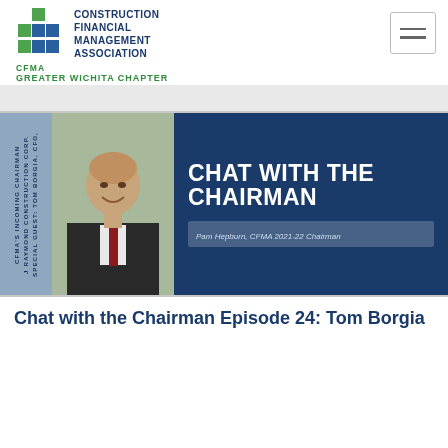[Figure (logo): CFMA Construction Financial Management Association Greater Wichita Chapter logo with green and blue squares grid]
[Figure (photo): Chat with the Chairman banner featuring a headshot of Tom Borgia, CFO at J Raymond Construction Corp, CFMA's Incoming Chairman, with white bold text 'CHAT WITH THE CHAIRMAN' and subtitle 'Pam Hepburn, CFMA 2021-22 Chairman' on dark blue background]
Chat with the Chairman Episode 24: Tom Borgia